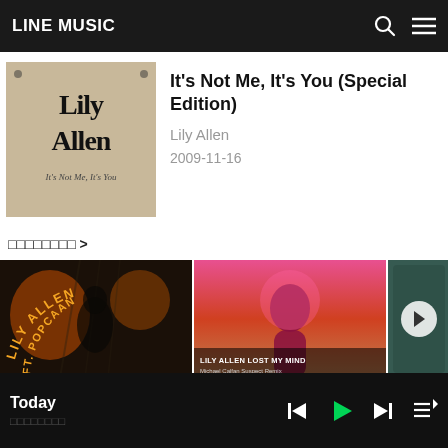LINE MUSIC
[Figure (photo): Lily Allen - It's Not Me, It's You album cover with beige/tan background and stylized black text]
It's Not Me, It's You (Special Edition)
Lily Allen
2009-11-16
□□□□□□□□ >
[Figure (photo): Lily Allen ft. Popcaan single artwork with dark moody scene]
[Figure (photo): Lily Allen Lost My Mind Michael Calfan Suspect Remix artwork with pink backlit figure]
[Figure (photo): Partial teal/green album artwork visible at right edge]
Today  □□□□□□□□